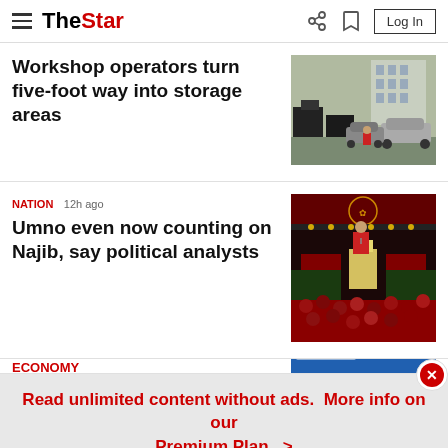The Star - Log In
Workshop operators turn five-foot way into storage areas
[Figure (photo): Street scene showing workshop area with cars parked and storage items on five-foot way]
NATION  12h ago
Umno even now counting on Najib, say political analysts
[Figure (photo): Political rally or event with crowd in red shirts and a speaker at podium on stage]
ECONOMY
Read unlimited content without ads. More info on our Premium Plan.  >
Home   For You   Bookmark   Audio   Search